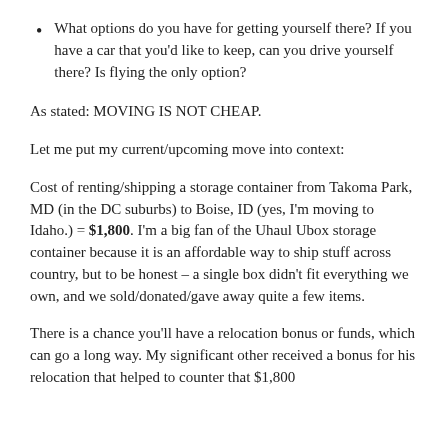What options do you have for getting yourself there? If you have a car that you'd like to keep, can you drive yourself there? Is flying the only option?
As stated: MOVING IS NOT CHEAP.
Let me put my current/upcoming move into context:
Cost of renting/shipping a storage container from Takoma Park, MD (in the DC suburbs) to Boise, ID (yes, I'm moving to Idaho.) = $1,800. I'm a big fan of the Uhaul Ubox storage container because it is an affordable way to ship stuff across country, but to be honest – a single box didn't fit everything we own, and we sold/donated/gave away quite a few items.
There is a chance you'll have a relocation bonus or funds, which can go a long way. My significant other received a bonus for his relocation that helped to counter that $1,800...